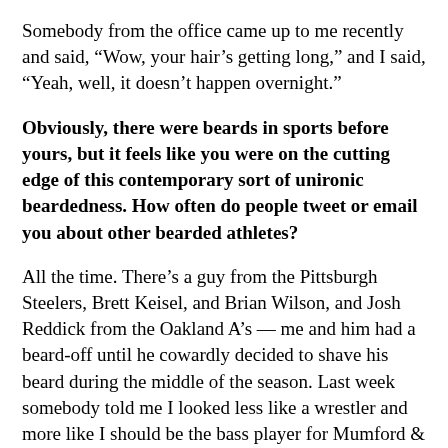Somebody from the office came up to me recently and said, “Wow, your hair’s getting long,” and I said, “Yeah, well, it doesn’t happen overnight.”
Obviously, there were beards in sports before yours, but it feels like you were on the cutting edge of this contemporary sort of unironic beardedness. How often do people tweet or email you about other bearded athletes?
All the time. There’s a guy from the Pittsburgh Steelers, Brett Keisel, and Brian Wilson, and Josh Reddick from the Oakland A’s — me and him had a beard-off until he cowardly decided to shave his beard during the middle of the season. Last week somebody told me I looked less like a wrestler and more like I should be the bass player for Mumford & Sons. I just think there are a lot of people who are rebelling against the conventional idea of what’s